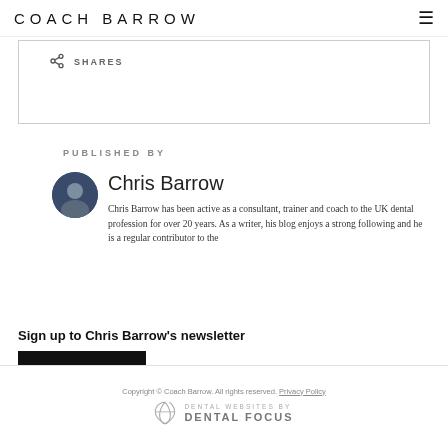COACH BARROW
SHARES
PUBLISHED BY
[Figure (photo): Circular profile photo of Chris Barrow]
Chris Barrow
Chris Barrow has been active as a consultant, trainer and coach to the UK dental profession for over 20 years. As a writer, his blog enjoys a strong following and he is a regular contributor to the
Sign up to Chris Barrow's newsletter
SIGN UP
Copyright © Coach Barrow. All rights reserved. Privacy Policy
DENTAL WEBSITES BY DENTAL FOCUS